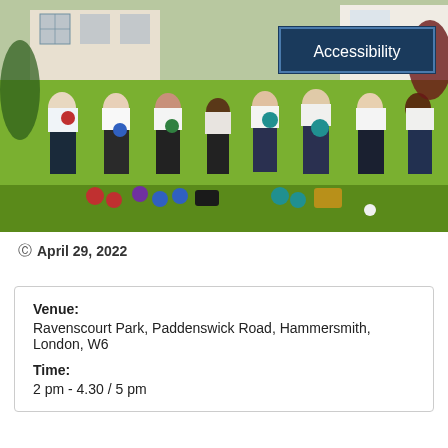[Figure (photo): Group photo of bowls club members standing on a green lawn holding coloured bowls, with a building in the background. An 'Accessibility' badge overlay appears in the upper right of the image.]
© April 29, 2022
Venue:
Ravenscourt Park, Paddenswick Road, Hammersmith, London, W6
Time:
2 pm - 4.30 / 5 pm